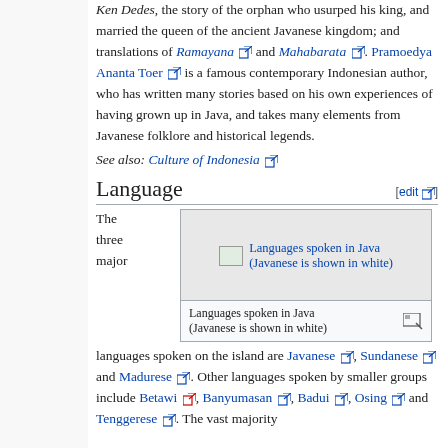Ken Dedes, the story of the orphan who usurped his king, and married the queen of the ancient Javanese kingdom; and translations of Ramayana and Mahabarata. Pramoedya Ananta Toer is a famous contemporary Indonesian author, who has written many stories based on his own experiences of having grown up in Java, and takes many elements from Javanese folklore and historical legends.
See also: Culture of Indonesia
Language
The three major
[Figure (photo): Languages spoken in Java (Javanese is shown in white) — image placeholder with caption]
languages spoken on the island are Javanese, Sundanese and Madurese. Other languages spoken by smaller groups include Betawi, Banyumasan, Badui, Osing and Tenggerese. The vast majority